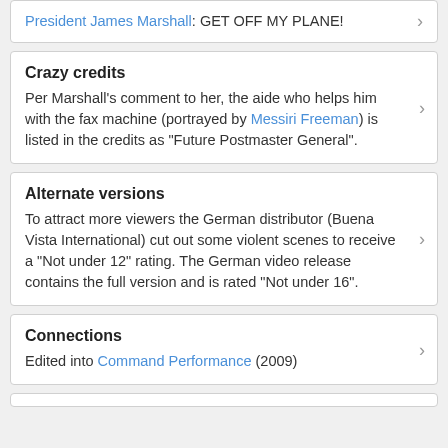President James Marshall: GET OFF MY PLANE!
Crazy credits
Per Marshall's comment to her, the aide who helps him with the fax machine (portrayed by Messiri Freeman) is listed in the credits as "Future Postmaster General".
Alternate versions
To attract more viewers the German distributor (Buena Vista International) cut out some violent scenes to receive a "Not under 12" rating. The German video release contains the full version and is rated "Not under 16".
Connections
Edited into Command Performance (2009)